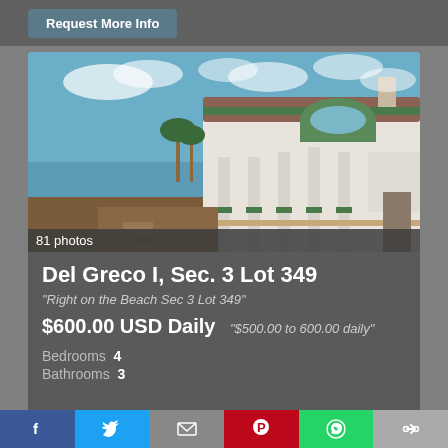Request More Info
[Figure (photo): Beachfront property with white stucco building, green trim, columns, terrace/deck with ocean view, blue sky with clouds]
81 photos
Del Greco I, Sec. 3 Lot 349
"Right on the Beach Sec 3 Lot 349"
$600.00 USD Daily   "$500.00 to 600.00 daily"
Bedrooms  4
Bathrooms  3
Request More Info
[Figure (screenshot): Bottom partial card visible]
f  Twitter bird  envelope  Pinterest P  WhatsApp  link icon